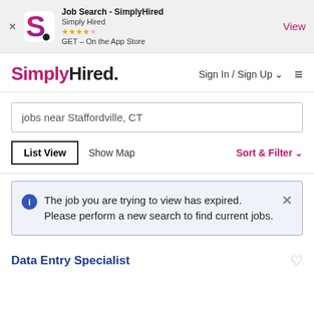[Figure (screenshot): App Store banner with SimplyHired logo (pink/magenta S letter mark), app title 'Job Search - SimplyHired', company 'Simply Hired', 4-star rating, 'GET – On the App Store' label, and a 'View' link on the right.]
SimplyHired. Sign In / Sign Up ☰
jobs near Staffordville, CT
List View  Show Map  Sort & Filter
The job you are trying to view has expired. Please perform a new search to find current jobs.
Data Entry Specialist